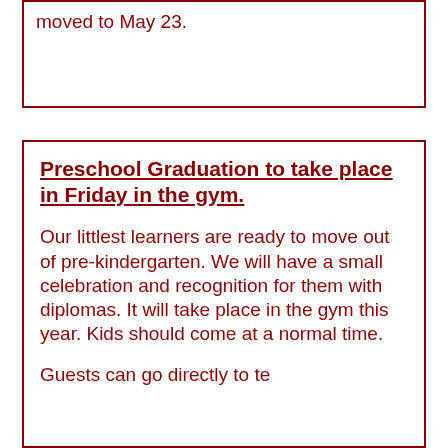moved to May 23.
Preschool Graduation to take place in Friday in the gym.
Our littlest learners are ready to move out of pre-kindergarten.  We will have a small celebration and recognition for them with diplomas. It will take place in the gym this year.   Kids should come at a normal time.
Guests can go directly to te